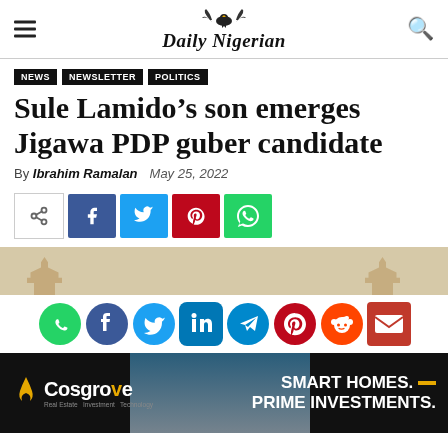Daily Nigerian
NEWS | NEWSLETTER | POLITICS
Sule Lamido's son emerges Jigawa PDP guber candidate
By Ibrahim Ramalan   May 25, 2022
[Figure (infographic): Social share buttons: share icon, Facebook, Twitter, Pinterest, WhatsApp]
[Figure (infographic): Advertisement banner with tan background, social media icons strip (WhatsApp, Facebook, Twitter, LinkedIn, Telegram, Pinterest, Reddit, Email), and Cosgrove real estate ad with smart homes prime investments tagline]